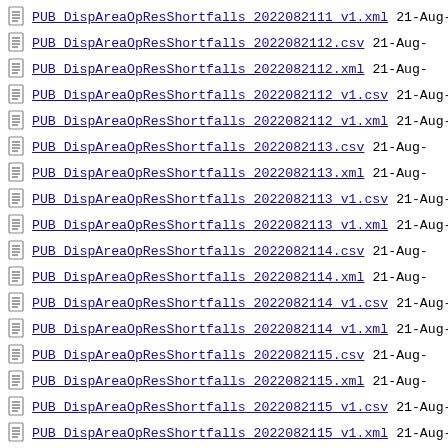PUB_DispAreaOpResShortfalls_2022082111 v1.xml  21-Aug-
PUB_DispAreaOpResShortfalls_2022082112.csv  21-Aug-
PUB_DispAreaOpResShortfalls_2022082112.xml  21-Aug-
PUB_DispAreaOpResShortfalls_2022082112 v1.csv  21-Aug-
PUB_DispAreaOpResShortfalls_2022082112 v1.xml  21-Aug-
PUB_DispAreaOpResShortfalls_2022082113.csv  21-Aug-
PUB_DispAreaOpResShortfalls_2022082113.xml  21-Aug-
PUB_DispAreaOpResShortfalls_2022082113 v1.csv  21-Aug-
PUB_DispAreaOpResShortfalls_2022082113 v1.xml  21-Aug-
PUB_DispAreaOpResShortfalls_2022082114.csv  21-Aug-
PUB_DispAreaOpResShortfalls_2022082114.xml  21-Aug-
PUB_DispAreaOpResShortfalls_2022082114 v1.csv  21-Aug-
PUB_DispAreaOpResShortfalls_2022082114 v1.xml  21-Aug-
PUB_DispAreaOpResShortfalls_2022082115.csv  21-Aug-
PUB_DispAreaOpResShortfalls_2022082115.xml  21-Aug-
PUB_DispAreaOpResShortfalls_2022082115 v1.csv  21-Aug-
PUB_DispAreaOpResShortfalls_2022082115 v1.xml  21-Aug-
PUB_DispAreaOpResShortfalls_2022082116...  21-Aug-